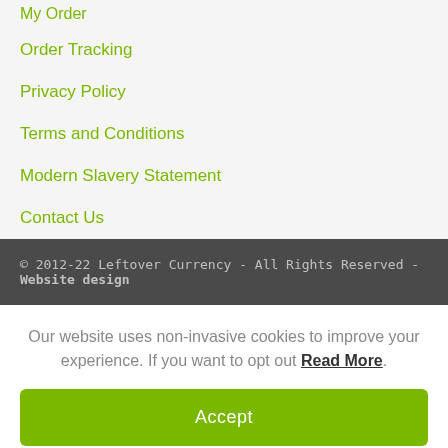My Order
Order Tracking
Privacy Policy
Terms and Conditions
Modern Slavery Statement
Contact Us
© 2012-22 Leftover Currency - All Rights Reserved - Website design
Our website uses non-invasive cookies to improve your experience. If you want to opt out Read More.
Accept